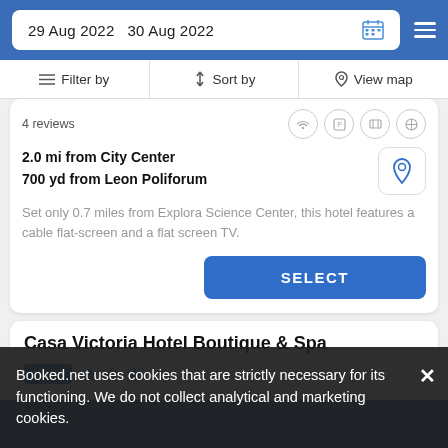29 Aug 2022  30 Aug 2022
Filter by  Sort by  View map
4 reviews
2.0 mi from City Center
700 yd from Leon Poliforum
Set only 0.7 miles from Explora Science Center, this hotel features a cable flat-screen and a flat screen TV.
SELECT
Casa Victoria Hotel Boutique & Spa
Hotel ★★★
Booked.net uses cookies that are strictly necessary for its functioning. We do not collect analytical and marketing cookies.